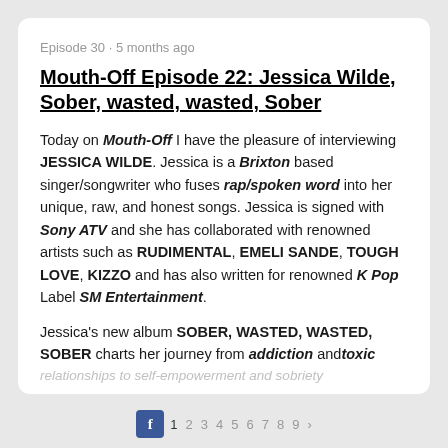Episode 30 · 5 months ago
Mouth-Off Episode 22: Jessica Wilde, Sober, wasted, wasted, Sober
Today on Mouth-Off I have the pleasure of interviewing JESSICA WILDE. Jessica is a Brixton based singer/songwriter who fuses rap/spoken word into her unique, raw, and honest songs. Jessica is signed with Sony ATV and she has collaborated with renowned artists such as RUDIMENTAL, EMELI SANDE, TOUGH LOVE, KIZZO and has also written for renowned K Pop Label SM Entertainment.
Jessica's new album SOBER, WASTED, WASTED, SOBER charts her journey from addiction and toxic relationships to self-empowerment and sobriety
LISTEN NOW